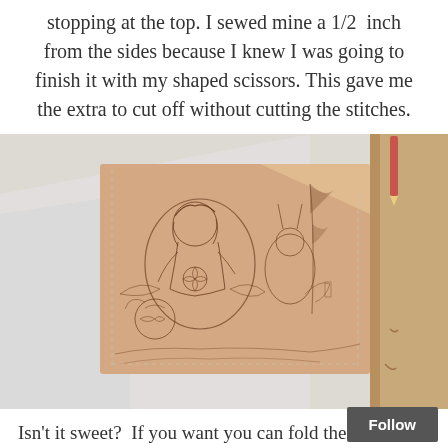stopping at the top. I sewed mine a 1/2 inch from the sides because I knew I was going to finish it with my shaped scissors. This gave me the extra to cut off without cutting the stitches.
[Figure (photo): A rectangular piece of fabric with a brown toile print featuring fantasy/fairy tale characters (a girl, animals, flowers, and scenery), sewn along the sides, laying flat on a white surface with a wooden table edge visible on the right.]
Isn't it sweet? If you want you can fold the